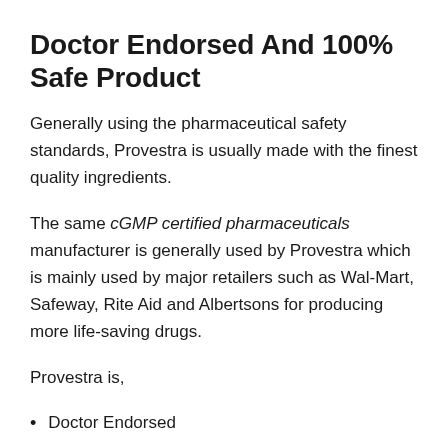Doctor Endorsed And 100% Safe Product
Generally using the pharmaceutical safety standards, Provestra is usually made with the finest quality ingredients.
The same cGMP certified pharmaceuticals manufacturer is generally used by Provestra which is mainly used by major retailers such as Wal-Mart, Safeway, Rite Aid and Albertsons for producing more life-saving drugs.
Provestra is,
Doctor Endorsed